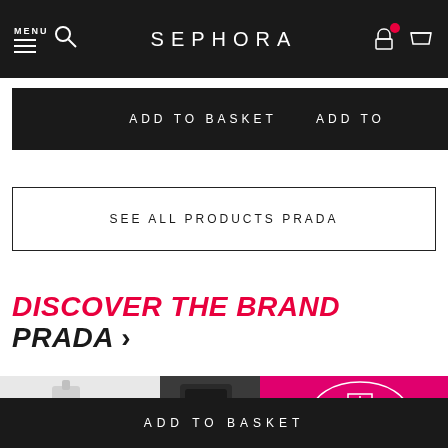MENU | SEPHORA
ADD TO BASKET
ADD TO
SEE ALL PRODUCTS PRADA
DISCOVER THE BRAND PRADA ›
[Figure (photo): Brand product collage showing white perfume bottle, black product, and pink Prada bag with white logo on pink textured background]
ADD TO BASKET